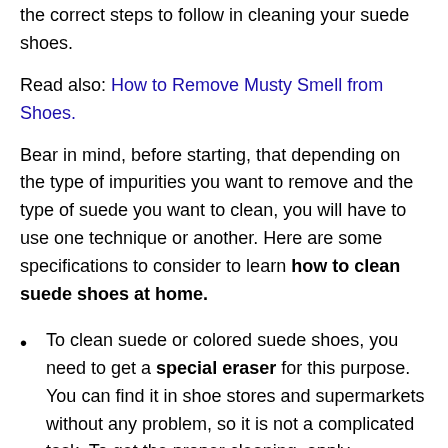the correct steps to follow in cleaning your suede shoes.
Read also: How to Remove Musty Smell from Shoes.
Bear in mind, before starting, that depending on the type of impurities you want to remove and the type of suede you want to clean, you will have to use one technique or another. Here are some specifications to consider to learn how to clean suede shoes at home.
To clean suede or colored suede shoes, you need to get a special eraser for this purpose. You can find it in shoe stores and supermarkets without any problem, so it is not a complicated task. To get the proper cleaning, apply moderate pressure to the material, using the eraser on the stained or dirty area.
On the other hand, if you want to learn how to clean light